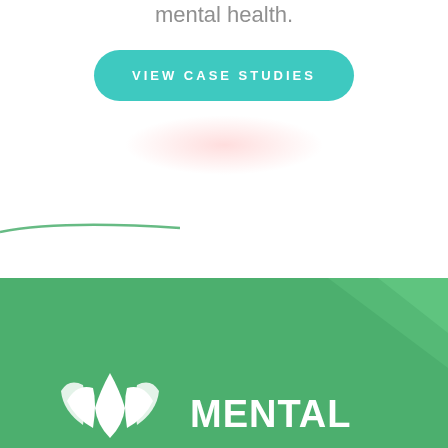mental health.
VIEW CASE STUDIES
[Figure (logo): Green mental health logo with white lotus/leaf icon and MENTAL text on green background]
MENTAL